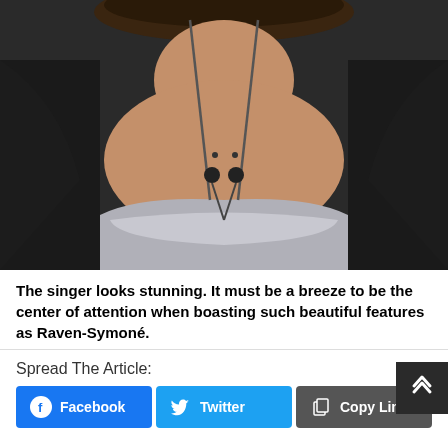[Figure (photo): Close-up photo of Raven-Symoné wearing a black blazer over a silver/metallic bustier top with a long beaded chain necklace. The photo shows her from approximately chin to waist level.]
The singer looks stunning. It must be a breeze to be the center of attention when boasting such beautiful features as Raven-Symoné.
Spread The Article: